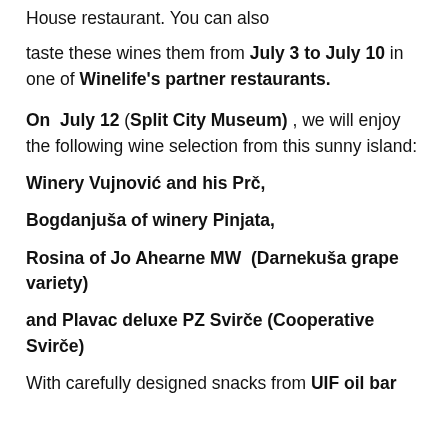House restaurant. You can also
taste these wines them from July 3 to July 10 in one of Winelife's partner restaurants.
On  July 12 (Split City Museum) , we will enjoy the following wine selection from this sunny island:
Winery Vujnović and his Prč,
Bogdanjuša of winery Pinjata,
Rosina of Jo Ahearne MW  (Darnekuša grape variety)
and Plavac deluxe PZ Svirče (Cooperative Svirče)
With carefully designed snacks from UIF oil bar